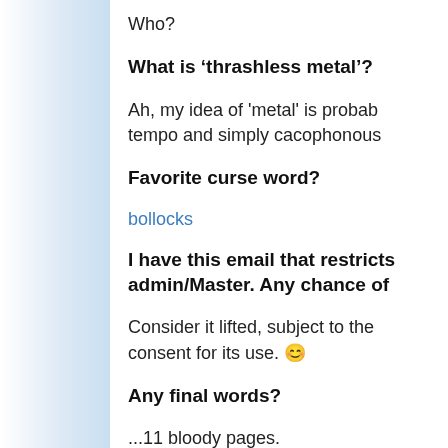Who?
What is ‘thrashless metal’?
Ah, my idea of 'metal' is probably tempo and simply cacophonous.
Favorite curse word?
bollocks
I have this email that restricts admin/Master. Any chance of
Consider it lifted, subject to the consent for its use. 😊
Any final words?
...11 bloody pages.